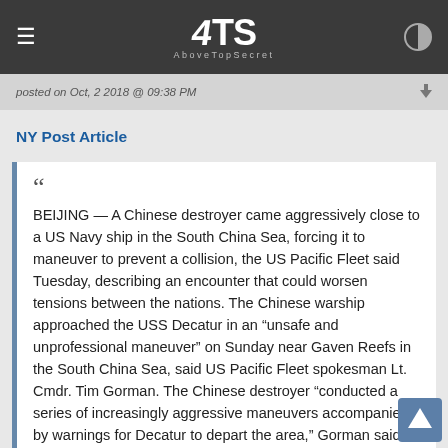ATS AboveTopSecret
posted on Oct, 2 2018 @ 09:38 PM
NY Post Article
BEIJING — A Chinese destroyer came aggressively close to a US Navy ship in the South China Sea, forcing it to maneuver to prevent a collision, the US Pacific Fleet said Tuesday, describing an encounter that could worsen tensions between the nations. The Chinese warship approached the USS Decatur in an “unsafe and unprofessional maneuver” on Sunday near Gaven Reefs in the South China Sea, said US Pacific Fleet spokesman Lt. Cmdr. Tim Gorman. The Chinese destroyer “conducted a series of increasingly aggressive maneuvers accompanied by warnings for Decatur to depart the area,” Gorman said in an emailed statement. It approached within 45 yards of the Decatur’s bow, forcing it to maneuver, Gorman said.